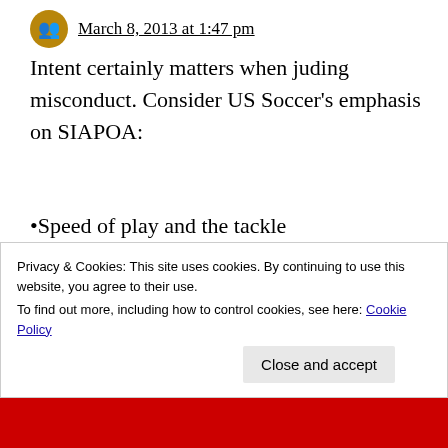March 8, 2013 at 1:47 pm
Intent certainly matters when juding misconduct. Consider US Soccer's emphasis on SIAPOA:
•Speed of play and the tackle The faster the tackler is moving, the greater the force and likelihood of endangering the safety of the opponent. Additionally, speed also
Privacy & Cookies: This site uses cookies. By continuing to use this website, you agree to their use.
To find out more, including how to control cookies, see here: Cookie Policy